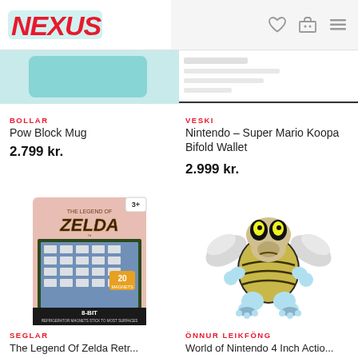NEXUS
[Figure (screenshot): Nexus logo top left, navigation icons (heart, cart, menu) top right on light background]
BOLLAR
Pow Block Mug
2.799 kr.
VESKI
Nintendo – Super Mario Koopa Bifold Wallet
2.999 kr.
[Figure (photo): The Legend of Zelda 8-bit magnet set product image in pink/blue packaging with 20 magnets]
[Figure (photo): World of Nintendo Koopa Paratroopa figure, white winged turtle character with yellow eyes]
SEGLAR
The Legend Of Zelda Retr...
ÖNNUR LEIKFÖNG
World of Nintendo 4 Inch Actio...